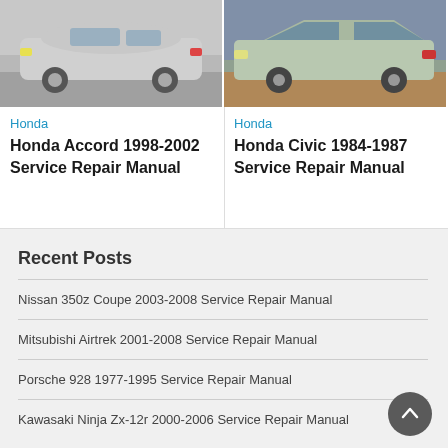[Figure (photo): Photo of a silver Honda Accord sedan in a parking lot]
Honda
Honda Accord 1998-2002 Service Repair Manual
[Figure (photo): Photo of a light green Honda Civic hatchback parked on brick pavement]
Honda
Honda Civic 1984-1987 Service Repair Manual
Recent Posts
Nissan 350z Coupe 2003-2008 Service Repair Manual
Mitsubishi Airtrek 2001-2008 Service Repair Manual
Porsche 928 1977-1995 Service Repair Manual
Kawasaki Ninja Zx-12r 2000-2006 Service Repair Manual